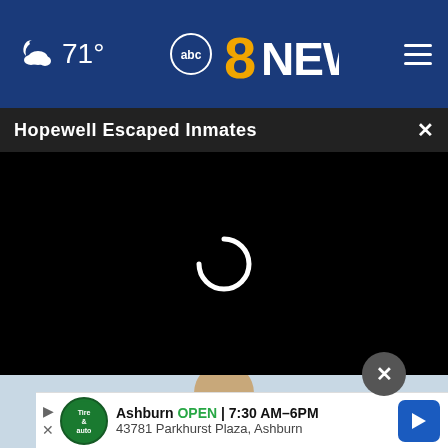71° abc8NEWS
Hopewell Escaped Inmates
[Figure (screenshot): Black video loading screen with white spinning loading indicator in center]
[Figure (photo): Partial view of news anchor in suit against light blue background]
[Figure (infographic): Advertisement: Ashburn OPEN 7:30 AM–6PM, 43781 Parkhurst Plaza, Ashburn – Tire and Auto service with green logo and blue navigation arrow button]